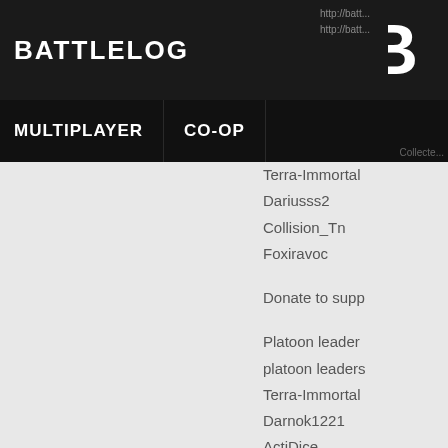BATTLELOG
MULTIPLAYER   CO-OP
Terra-Immortal
Dariusss2
Collision_Tn
Foxiravoc
Donate to supp
Platoon leaders platoon leaders Terra-Immortal Darnok1221 ActiDice Collision-Tn Dariusss2 FFRzzzzz Jimmeryte
tEall... BEC...